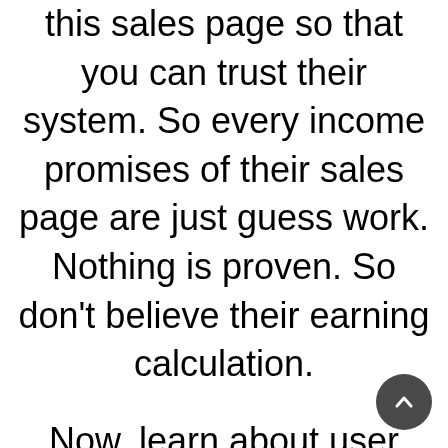screenshot of live login video in this sales page so that you can trust their system. So every income promises of their sales page are just guess work. Nothing is proven. So don't believe their earning calculation.
Now, learn about user review. Most of the renowned